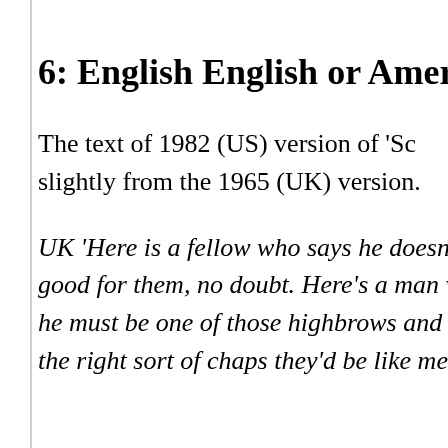6: English English or Amer
The text of 1982 (US) version of 'Sc slightly from the 1965 (UK) version.
UK 'Here is a fellow who says he doesn good for them, no doubt. Here's a man w he must be one of those highbrows and the right sort of chaps they'd be like me.